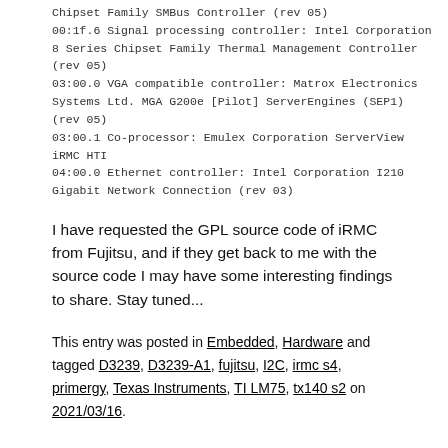Chipset Family SMBus Controller (rev 05)
00:1f.6 Signal processing controller: Intel Corporation 8 Series Chipset Family Thermal Management Controller (rev 05)
03:00.0 VGA compatible controller: Matrox Electronics Systems Ltd. MGA G200e [Pilot] ServerEngines (SEP1) (rev 05)
03:00.1 Co-processor: Emulex Corporation ServerView iRMC HTI
04:00.0 Ethernet controller: Intel Corporation I210 Gigabit Network Connection (rev 03)
I have requested the GPL source code of iRMC from Fujitsu, and if they get back to me with the source code I may have some interesting findings to share. Stay tuned...
This entry was posted in Embedded, Hardware and tagged D3239, D3239-A1, fujitsu, I2C, irmc s4, primergy, Texas Instruments, TI LM75, tx140 s2 on 2021/03/16.